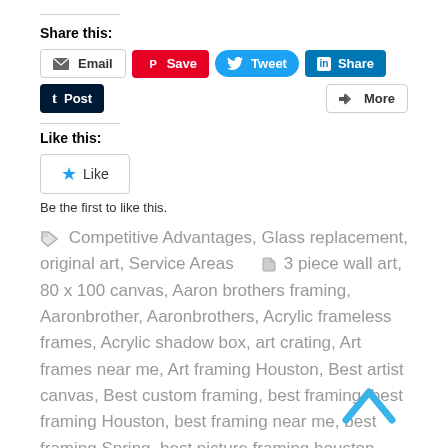Share this:
[Figure (screenshot): Social sharing buttons: Email, Save (Pinterest), Tweet (Twitter), Share (LinkedIn), Post (Tumblr), More]
Like this:
[Figure (screenshot): Like button with star icon]
Be the first to like this.
Competitive Advantages, Glass replacement, original art, Service Areas    3 piece wall art, 80 x 100 canvas, Aaron brothers framing, Aaronbrother, Aaronbrothers, Acrylic frameless frames, Acrylic shadow box, art crating, Art frames near me, Art framing Houston, Best artist canvas, Best custom framing, best framing, best framing Houston, best framing near me, best framing Spring, best picture framing houston, best picture framing near me, best Woodlands framing, BG, Bill Gerdes, Black